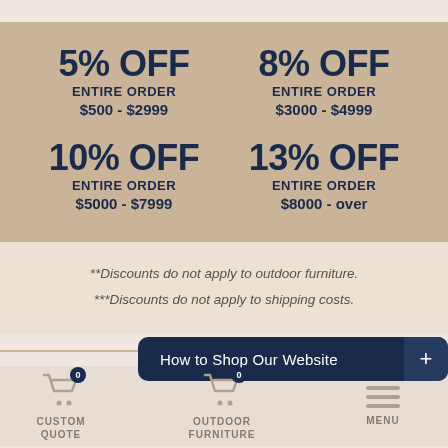5% OFF ENTIRE ORDER $500 - $2999
8% OFF ENTIRE ORDER $3000 - $4999
10% OFF ENTIRE ORDER $5000 - $7999
13% OFF ENTIRE ORDER $8000 - over
**Discounts do not apply to outdoor furniture. ***Discounts do not apply to shipping costs.
How to Shop Our Website +
CUSTOM QUOTE 0
OUTDOOR FURNITURE 0
MENU